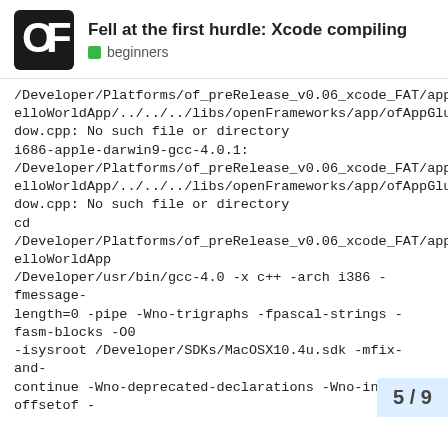Fell at the first hurdle: Xcode compiling | beginners
/Developer/Platforms/of_preRelease_v0.06_xcode_FAT/apps/HelloWorldApp/../../.../libs/openFrameworks/app/ofAppGlutWindow.cpp: No such file or directory
i686-apple-darwin9-gcc-4.0.1:
/Developer/Platforms/of_preRelease_v0.06_xcode_FAT/apps/HelloWorldApp/../../.../libs/openFrameworks/app/ofAppGlutWindow.cpp: No such file or directory
cd /Developer/Platforms/of_preRelease_v0.06_xcode_FAT/apps/HelloWorldApp
/Developer/usr/bin/gcc-4.0 -x c++ -arch i386 -fmessage-length=0 -pipe -Wno-trigraphs -fpascal-strings -fasm-blocks -O0 -isysroot /Developer/SDKs/MacOSX10.4u.sdk -mfix-and-continue -Wno-deprecated-declarations -Wno-invalid-offsetof -mmacosx-version-min=10.4 -gdwarf-2 -I/Developer/Platforms/of_preRelease_v0.06_xcode_FAT/apps/HelloWorldApp/build/openFrameworks.build/Debug/openFrameworks.build/openFrameworksDebug.hmap -F/Developer/Platforms/of_preRelease_v0.
5 / 9